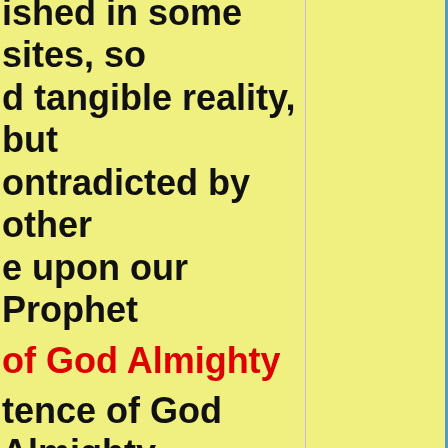ished in some sites, so d tangible reality, but ontradicted by other e upon our Prophet
of God Almighty
tence of God Almighty for the mind, it is the ound you runs in an